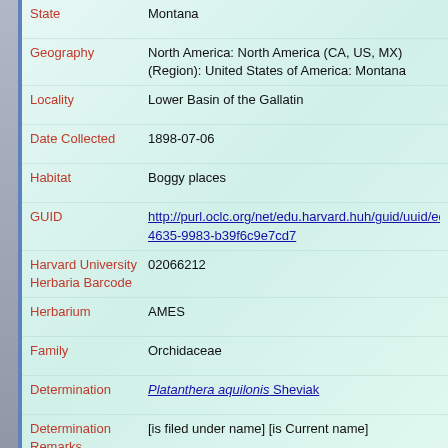| Field | Value |
| --- | --- |
| State | Montana |
| Geography | North America: North America (CA, US, MX) (Region): United States of America: Montana |
| Locality | Lower Basin of the Gallatin |
| Date Collected | 1898-07-06 |
| Habitat | Boggy places |
| GUID | http://purl.oclc.org/net/edu.harvard.huh/guid/uuid/ed6a728-4635-9983-b39f6c9e7cd7 |
| Harvard University Herbaria Barcode | 02066212 |
| Herbarium | AMES |
| Family | Orchidaceae |
| Determination | Platanthera aquilonis Sheviak |
| Determination Remarks | [is filed under name] [is Current name] |
| Accession Number | AMES 1063 |
| Sex | not determined |
| Phenology | NotDetermined |